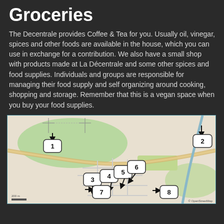Groceries
The Decentrale provides Coffee & Tea for you. Usually oil, vinegar, spices and other foods are available in the house, which you can use in exchange for a contribution. We also have a small shop with products made at La Décentrale and some other spices and food supplies. Individuals and groups are responsible for managing their food supply and self organizing around cooking, shopping and storage. Remember that this is a vegan space when you buy your food supplies.
[Figure (map): Street map showing numbered location markers 1 through 8. Marker 1 is in the upper left area, marker 2 is in the upper right area, markers 3-7 are clustered in the lower-center area, and marker 8 is to the right of that cluster.]